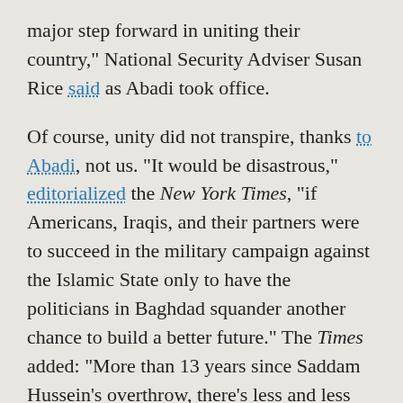major step forward in uniting their country," National Security Adviser Susan Rice said as Abadi took office.
Of course, unity did not transpire, thanks to Abadi, not us. "It would be disastrous," editorialized the New York Times, "if Americans, Iraqis, and their partners were to succeed in the military campaign against the Islamic State only to have the politicians in Baghdad squander another chance to build a better future." The Times added: "More than 13 years since Saddam Hussein's overthrow, there's less and less reason to be optimistic."
The latest Iraqi “screw-up” came on April 30th, when dissident Shia leader Muqtada al-Sadr’s supporters broke into the previously sacrosanct Green Zone established by the Americans in Iraq War 2.0 and stormed Iraq’s parliament. Sadr clearly remembers his